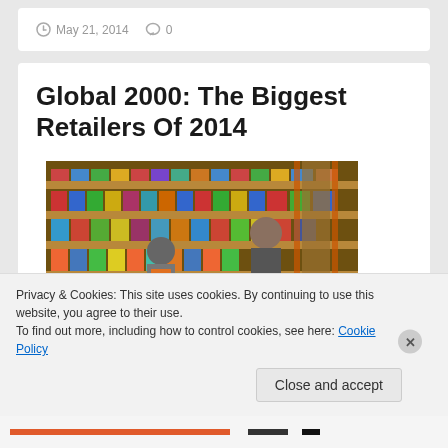May 21, 2014  0
Global 2000: The Biggest Retailers Of 2014
[Figure (photo): Two people in a retail store with orange metal shelving racks stacked with merchandise/products]
Privacy & Cookies: This site uses cookies. By continuing to use this website, you agree to their use.
To find out more, including how to control cookies, see here: Cookie Policy
Close and accept